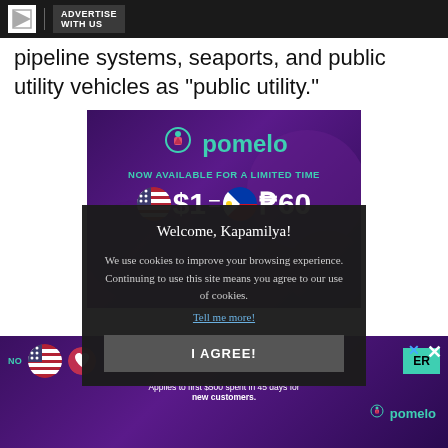ADVERTISE WITH US
pipeline systems, seaports, and public utility vehicles as "public utility."
[Figure (illustration): Pomelo app advertisement banner showing pomelo logo, 'NOW AVAILABLE FOR A LIMITED TIME', currency exchange rate $1 = ₱60, with US and Philippine flag icons]
[Figure (screenshot): Cookie consent modal overlay: 'Welcome, Kapamilya!' message with cookie usage notice, 'Tell me more!' link, and 'I AGREE!' button]
[Figure (illustration): Bottom portion of Pomelo advertisement with rate info, flag icons, ER button, 'Applies to first $500 spent in 45 days for new customers.' text, and pomelo logo. Close buttons visible.]